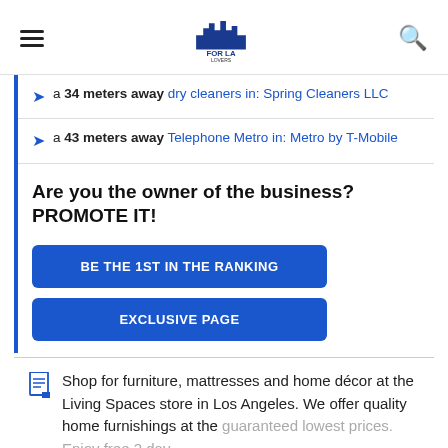FOR LA LOVERS (logo, hamburger menu, search icon)
a 34 meters away dry cleaners in: Spring Cleaners LLC
a 43 meters away Telephone Metro in: Metro by T-Mobile
Are you the owner of the business? PROMOTE IT!
BE THE 1ST IN THE RANKING
EXCLUSIVE PAGE
Shop for furniture, mattresses and home décor at the Living Spaces store in Los Angeles. We offer quality home furnishings at the guaranteed lowest prices. Enjoy free 2 day...